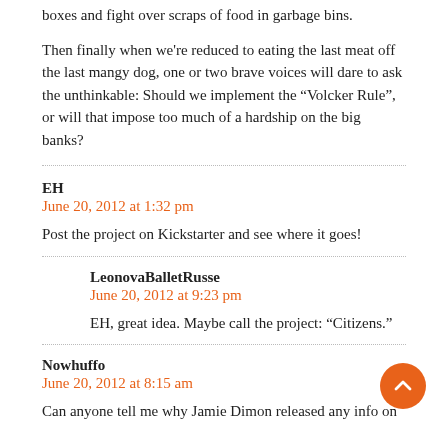boxes and fight over scraps of food in garbage bins.

Then finally when we're reduced to eating the last meat off the last mangy dog, one or two brave voices will dare to ask the unthinkable: Should we implement the “Volcker Rule”, or will that impose too much of a hardship on the big banks?
EH
June 20, 2012 at 1:32 pm
Post the project on Kickstarter and see where it goes!
LeonovaBalletRusse
June 20, 2012 at 9:23 pm
EH, great idea. Maybe call the project: “Citizens.”
Nowhuffo
June 20, 2012 at 8:15 am
Can anyone tell me why Jamie Dimon released any info on